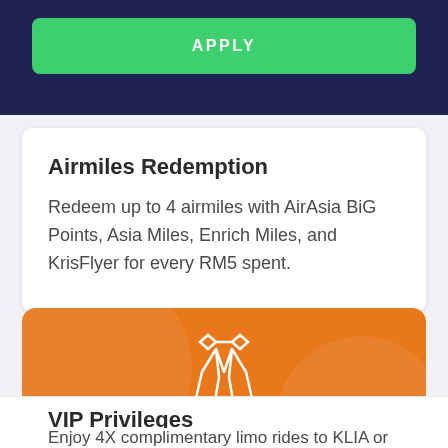APPLY
Airmiles Redemption
Redeem up to 4 airmiles with AirAsia BiG Points, Asia Miles, Enrich Miles, and KrisFlyer for every RM5 spent.
[Figure (illustration): White icon of a tuxedo/butler suit with bow tie on orange background]
VIP Privileges
Enjoy 4X complimentary limo rides to KLIA or KLIA2